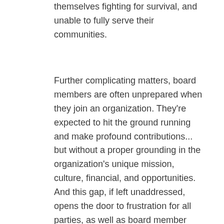themselves fighting for survival, and unable to fully serve their communities.
Further complicating matters, board members are often unprepared when they join an organization. They're expected to hit the ground running and make profound contributions... but without a proper grounding in the organization's unique mission, culture, financial, and opportunities. And this gap, if left unaddressed, opens the door to frustration for all parties, as well as board member turnover and organizational under performance.